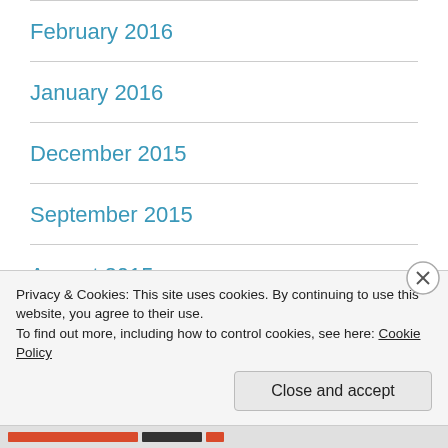February 2016
January 2016
December 2015
September 2015
August 2015
July 2015
Privacy & Cookies: This site uses cookies. By continuing to use this website, you agree to their use.
To find out more, including how to control cookies, see here: Cookie Policy
Close and accept